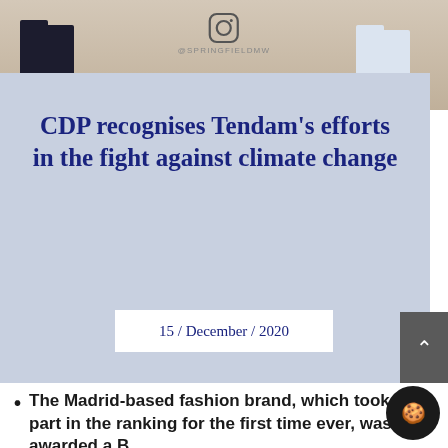[Figure (photo): Top portion of a fashion retail window display showing mannequin legs in dark jeans and shoes, with an Instagram icon and @SPRINGFIELDMW handle overlay on a light background]
CDP recognises Tendam's efforts in the fight against climate change
15 / December / 2020
The Madrid-based fashion brand, which took part in the ranking for the first time ever, was awarded a B